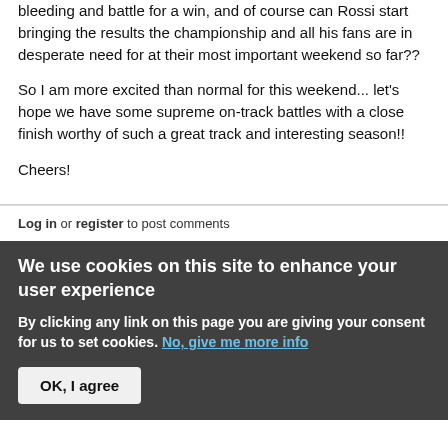bleeding and battle for a win, and of course can Rossi start bringing the results the championship and all his fans are in desperate need for at their most important weekend so far??
So I am more excited than normal for this weekend... let's hope we have some supreme on-track battles with a close finish worthy of such a great track and interesting season!!
Cheers!
Log in or register to post comments
We use cookies on this site to enhance your user experience
By clicking any link on this page you are giving your consent for us to set cookies. No, give me more info
OK, I agree